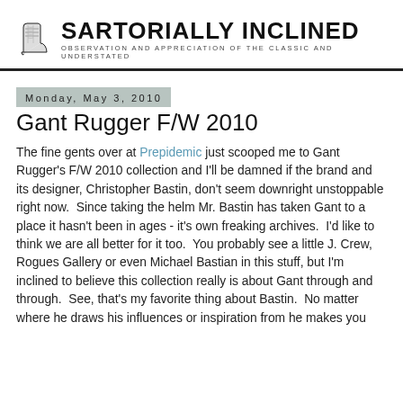SARTORIALLY INCLINED — OBSERVATION AND APPRECIATION OF THE CLASSIC AND UNDERSTATED
Monday, May 3, 2010
Gant Rugger F/W 2010
The fine gents over at Prepidemic just scooped me to Gant Rugger's F/W 2010 collection and I'll be damned if the brand and its designer, Christopher Bastin, don't seem downright unstoppable right now.  Since taking the helm Mr. Bastin has taken Gant to a place it hasn't been in ages - it's own freaking archives.  I'd like to think we are all better for it too.  You probably see a little J. Crew, Rogues Gallery or even Michael Bastian in this stuff, but I'm inclined to believe this collection really is about Gant through and through.  See, that's my favorite thing about Bastin.  No matter where he draws his influences or inspiration from he makes you absolutely, absolutely believe that it's their own collection too.